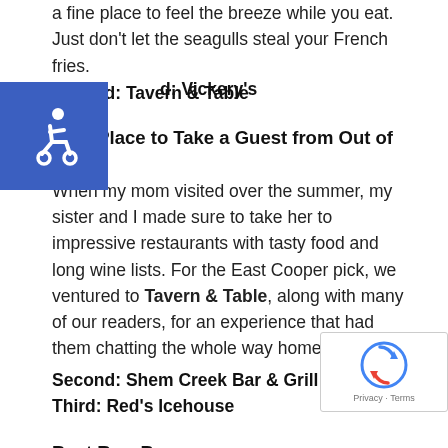a fine place to feel the breeze while you eat. Just don't let the seagulls steal your French fries.
Second: Tavern & Table
Third: Vickery's
Best Place to Take a Guest from Out of Town
When my mom visited over the summer, my sister and I made sure to take her to impressive restaurants with tasty food and long wine lists. For the East Cooper pick, we ventured to Tavern & Table, along with many of our readers, for an experience that had them chatting the whole way home.
Second: Shem Creek Bar & Grill
Third: Red's Icehouse
Best Raw Bar
My favorite food as a child was cereal, particularly Krispies. Now that I'm an adult, my favorite food is the